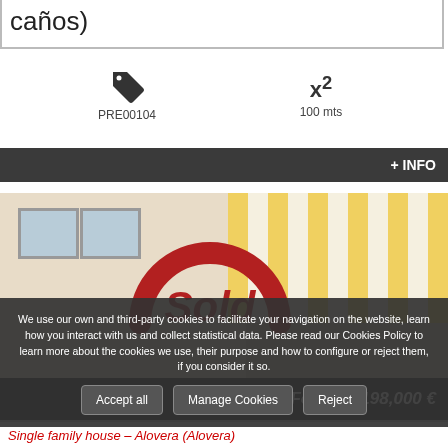caños)
PRE00104
x² 100 mts
+ INFO
[Figure (photo): Property photo showing a house facade with a yellow and white striped awning, overlaid with a large red 'Sold' circular stamp logo]
We use our own and third-party cookies to facilitate your navigation on the website, learn how you interact with us and collect statistical data. Please read our Cookies Policy to learn more about the cookies we use, their purpose and how to configure or reject them, if you consider it so.
Accept all
Manage Cookies
Reject
For sale 198,000 €
Single family house – Alovera (Alovera)